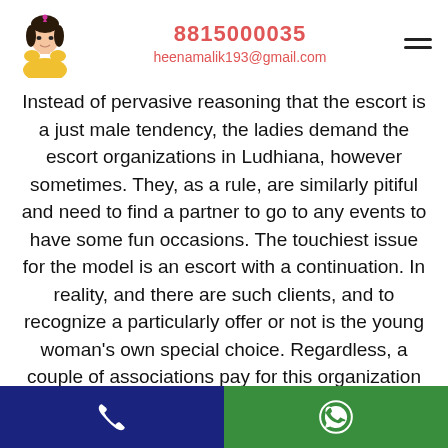8815000035 heenamalik193@gmail.com
Instead of pervasive reasoning that the escort is a just male tendency, the ladies demand the escort organizations in Ludhiana, however sometimes. They, as a rule, are similarly pitiful and need to find a partner to go to any events to have some fun occasions. The touchiest issue for the model is an escort with a continuation. In reality, and there are such clients, and to recognize a particularly offer or not is the young woman's own special choice. Regardless, a couple of associations pay for this organization after some time Every youngster needs to work in an Ludhiana Escorts for whom rich life, presentations, parties, red ways, and
Call | WhatsApp